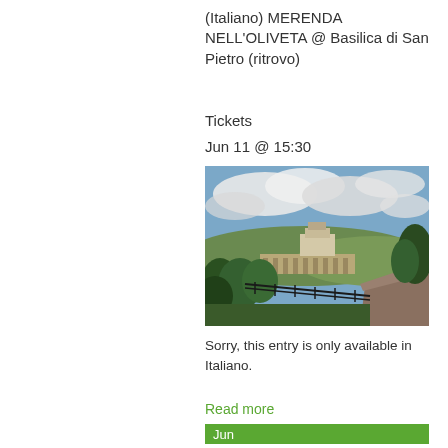(Italiano) MERENDA NELL'OLIVETA @ Basilica di San Pietro (ritrovo)
Tickets
Jun 11 @ 15:30
[Figure (photo): Landscape photo showing a hilltop building/basilica with an aqueduct bridge, surrounded by green trees, with a path and railing in the foreground and a dramatic cloudy sky above.]
Sorry, this entry is only available in Italiano.
Read more
Jun
12
Sun